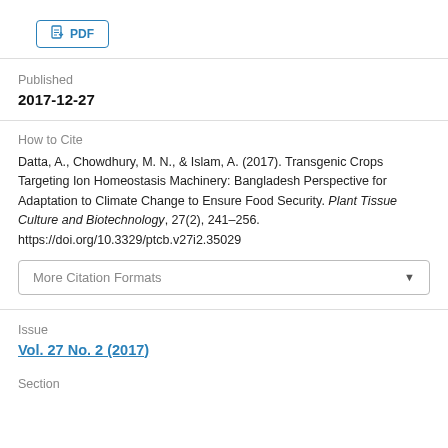[Figure (other): PDF download button with document icon]
Published
2017-12-27
How to Cite
Datta, A., Chowdhury, M. N., & Islam, A. (2017). Transgenic Crops Targeting Ion Homeostasis Machinery: Bangladesh Perspective for Adaptation to Climate Change to Ensure Food Security. Plant Tissue Culture and Biotechnology, 27(2), 241–256. https://doi.org/10.3329/ptcb.v27i2.35029
More Citation Formats
Issue
Vol. 27 No. 2 (2017)
Section